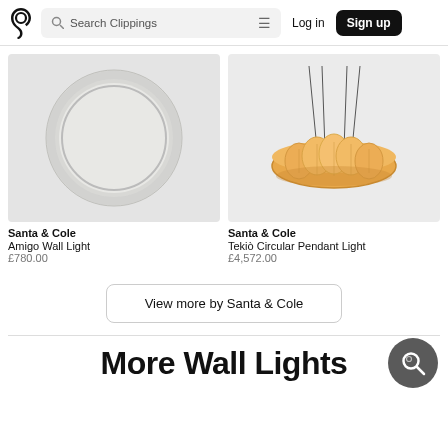Search Clippings | Log in | Sign up
[Figure (photo): Santa & Cole Amigo Wall Light - circular flat ceiling/wall light in grey/silver]
Santa & Cole
Amigo Wall Light
£780.00
[Figure (photo): Santa & Cole Tekiò Circular Pendant Light - warm amber/golden torus-shaped pendant with thin hanging cables]
Santa & Cole
Tekiò Circular Pendant Light
£4,572.00
View more by Santa & Cole
More Wall Lights